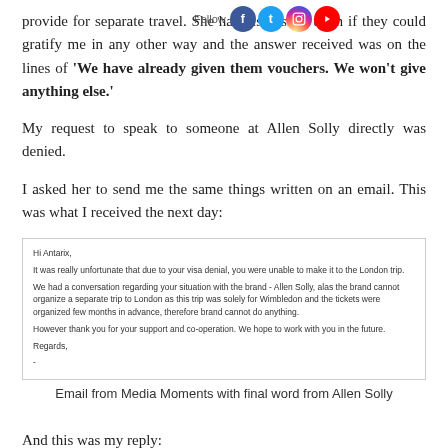provide for separate travel. She had also asked them if they could gratify me in any other way and the answer received was on the lines of 'We have already given them vouchers. We won't give anything else.'
My request to speak to someone at Allen Solly directly was denied.
I asked her to send me the same things written on an email. This was what I received the next day:
[Figure (screenshot): Email from Media Moments with final word from Allen Solly. The email reads: Hi Antarix, It was really unfortunate that due to your visa denial, you were unable to make it to the London trip. We had a conversation regarding your situation with the brand - Allen Solly, alas the brand cannot organize a separate trip to London as this trip was solely for Wimbledon and the tickets were organized few months in advance, therefore brand cannot do anything. However thank you for your support and co-operation. We hope to work with you in the future. Regards,]
Email from Media Moments with final word from Allen Solly
And this was my reply: